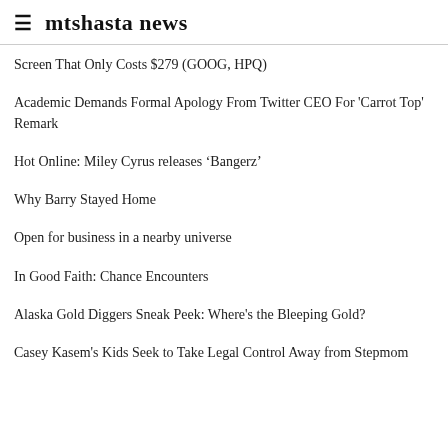mtshasta news
Screen That Only Costs $279 (GOOG, HPQ)
Academic Demands Formal Apology From Twitter CEO For 'Carrot Top' Remark
Hot Online: Miley Cyrus releases ‘Bangerz’
Why Barry Stayed Home
Open for business in a nearby universe
In Good Faith: Chance Encounters
Alaska Gold Diggers Sneak Peek: Where's the Bleeping Gold?
Casey Kasem's Kids Seek to Take Legal Control Away from Stepmom